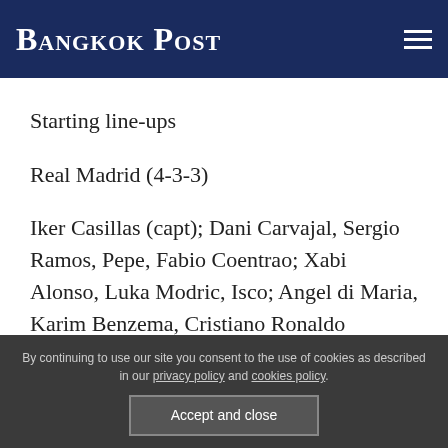Bangkok Post
Starting line-ups
Real Madrid (4-3-3)
Iker Casillas (capt); Dani Carvajal, Sergio Ramos, Pepe, Fabio Coentrao; Xabi Alonso, Luka Modric, Isco; Angel di Maria, Karim Benzema, Cristiano Ronaldo
By continuing to use our site you consent to the use of cookies as described in our privacy policy and cookies policy.
Accept and close